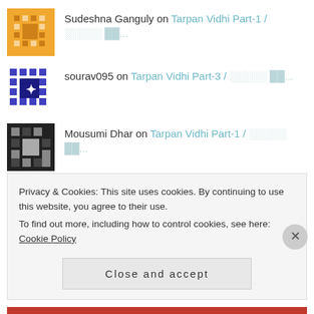Sudeshna Ganguly on Tarpan Vidhi Part-1 / [redacted]...
sourav095 on Tarpan Vidhi Part-3 / [redacted]...
Mousumi Dhar on Tarpan Vidhi Part-1 / [redacted]...
PARTHA SARATHI BANER... on Tarpan Vidhi Part-1 / [redacted]...
READER'S PICKS
Privacy & Cookies: This site uses cookies. By continuing to use this website, you agree to their use.
To find out more, including how to control cookies, see here: Cookie Policy
Close and accept